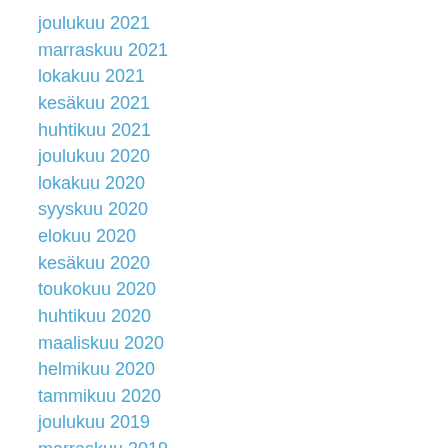joulukuu 2021
marraskuu 2021
lokakuu 2021
kesäkuu 2021
huhtikuu 2021
joulukuu 2020
lokakuu 2020
syyskuu 2020
elokuu 2020
kesäkuu 2020
toukokuu 2020
huhtikuu 2020
maaliskuu 2020
helmikuu 2020
tammikuu 2020
joulukuu 2019
marraskuu 2019
lokakuu 2019
syyskuu 2019
elokuu 2019